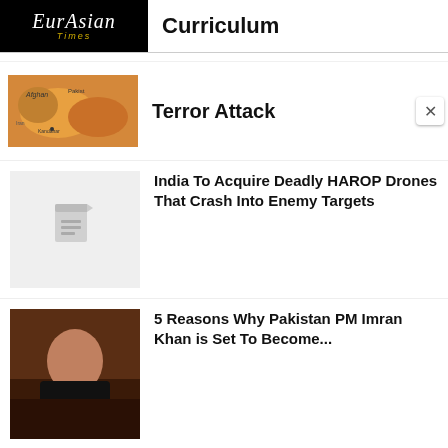EurAsian Times | Curriculum
Terror Attack
[Figure (map): Map thumbnail showing Afghanistan/Pakistan region]
India To Acquire Deadly HAROP Drones That Crash Into Enemy Targets
[Figure (photo): Placeholder thumbnail with document icon]
5 Reasons Why Pakistan PM Imran Khan is Set To Become...
[Figure (photo): Photo of Imran Khan in dark jacket]
Jugular Vein of Pakistan, Integral Part of India – Why Kashmir...
[Figure (photo): Dark thumbnail with text overlay]